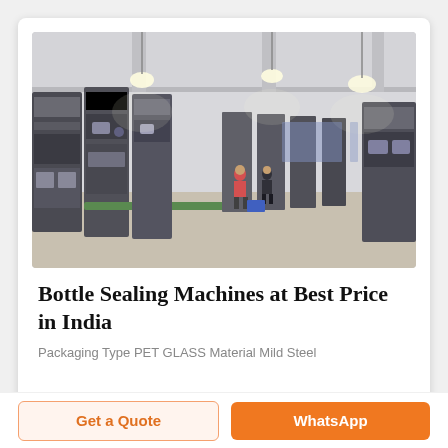[Figure (photo): Interior of a large manufacturing facility with rows of industrial packaging machines, bright overhead lighting, and workers visible in the background walking along the factory floor.]
Bottle Sealing Machines at Best Price in India
Packaging Type PET GLASS Material Mild Steel
Get a Quote
WhatsApp